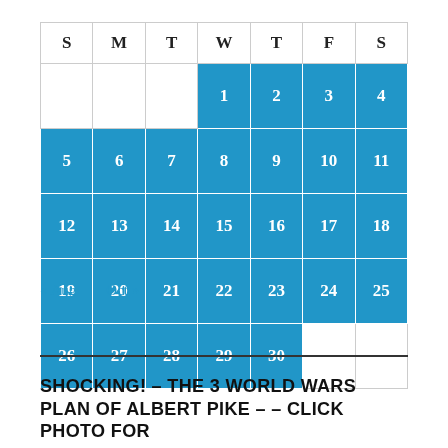| S | M | T | W | T | F | S |
| --- | --- | --- | --- | --- | --- | --- |
|  |  |  | 1 | 2 | 3 | 4 |
| 5 | 6 | 7 | 8 | 9 | 10 | 11 |
| 12 | 13 | 14 | 15 | 16 | 17 | 18 |
| 19 | 20 | 21 | 22 | 23 | 24 | 25 |
| 26 | 27 | 28 | 29 | 30 |  |  |
« Aug   Oct »
SHOCKING! – THE 3 WORLD WARS PLAN OF ALBERT PIKE – – CLICK PHOTO FOR